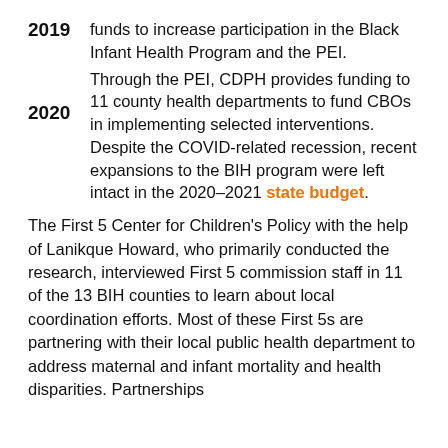2019 — funds to increase participation in the Black Infant Health Program and the PEI.
2020 — Through the PEI, CDPH provides funding to 11 county health departments to fund CBOs in implementing selected interventions. Despite the COVID-related recession, recent expansions to the BIH program were left intact in the 2020–2021 state budget.
The First 5 Center for Children's Policy with the help of Lanikque Howard, who primarily conducted the research, interviewed First 5 commission staff in 11 of the 13 BIH counties to learn about local coordination efforts. Most of these First 5s are partnering with their local public health department to address maternal and infant mortality and health disparities. Partnerships